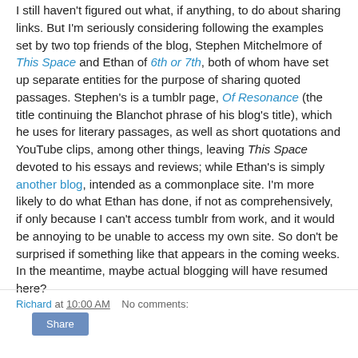I still haven't figured out what, if anything, to do about sharing links. But I'm seriously considering following the examples set by two top friends of the blog, Stephen Mitchelmore of This Space and Ethan of 6th or 7th, both of whom have set up separate entities for the purpose of sharing quoted passages. Stephen's is a tumblr page, Of Resonance (the title continuing the Blanchot phrase of his blog's title), which he uses for literary passages, as well as short quotations and YouTube clips, among other things, leaving This Space devoted to his essays and reviews; while Ethan's is simply another blog, intended as a commonplace site. I'm more likely to do what Ethan has done, if not as comprehensively, if only because I can't access tumblr from work, and it would be annoying to be unable to access my own site. So don't be surprised if something like that appears in the coming weeks. In the meantime, maybe actual blogging will have resumed here?
Richard at 10:00 AM   No comments: